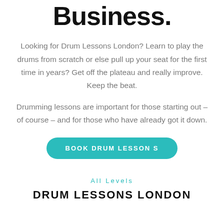Business.
Looking for Drum Lessons London? Learn to play the drums from scratch or else pull up your seat for the first time in years? Get off the plateau and really improve. Keep the beat.
Drumming lessons are important for those starting out – of course – and for those who have already got it down.
BOOK DRUM LESSONS
All Levels
DRUM LESSONS LONDON